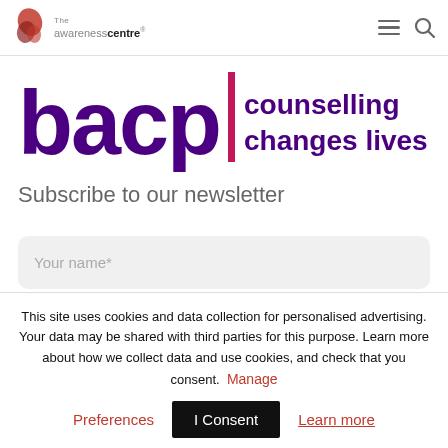The awarenesscentre — hamburger menu and search icons
[Figure (logo): BACP logo — purple letters 'bacp' with a pink/red vertical bar and text 'counselling changes lives' in dark purple]
Subscribe to our newsletter
Your name*
Email*
This site uses cookies and data collection for personalised advertising. Your data may be shared with third parties for this purpose. Learn more about how we collect data and use cookies, and check that you consent.  Manage
Preferences  I Consent  Learn more